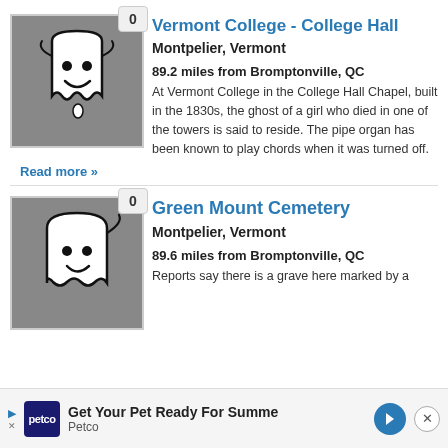[Figure (illustration): Ghost cartoon illustration on grey background]
Vermont College - College Hall
Montpelier, Vermont
89.2 miles from Bromptonville, QC
At Vermont College in the College Hall Chapel, built in the 1830s, the ghost of a girl who died in one of the towers is said to reside. The pipe organ has been known to play chords when it was turned off.
Read more »
[Figure (illustration): Ghost cartoon illustration on grey background]
Green Mount Cemetery
Montpelier, Vermont
89.6 miles from Bromptonville, QC
Reports say there is a grave here marked by a named a man-do 5 who d of h
Get Your Pet Ready For Summe Petco